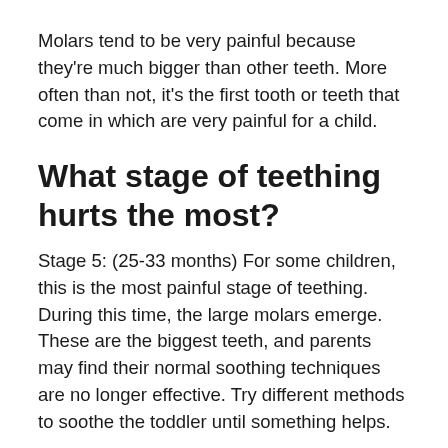Molars tend to be very painful because they're much bigger than other teeth. More often than not, it's the first tooth or teeth that come in which are very painful for a child.
What stage of teething hurts the most?
Stage 5: (25-33 months) For some children, this is the most painful stage of teething. During this time, the large molars emerge. These are the biggest teeth, and parents may find their normal soothing techniques are no longer effective. Try different methods to soothe the toddler until something helps.